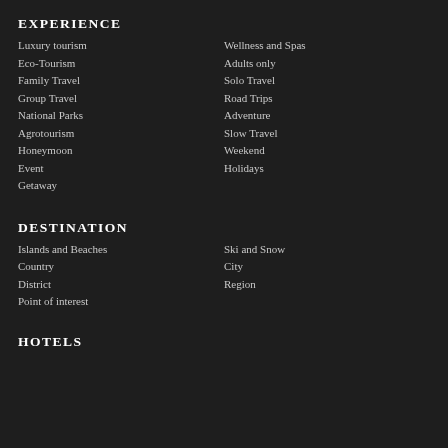EXPERIENCE
Luxury tourism
Wellness and Spas
Eco-Tourism
Adults only
Family Travel
Solo Travel
Group Travel
Road Trips
National Parks
Adventure
Agrotourism
Slow Travel
Honeymoon
Weekend
Event
Holidays
Getaway
DESTINATION
Islands and Beaches
Ski and Snow
Country
City
District
Region
Point of interest
HOTELS